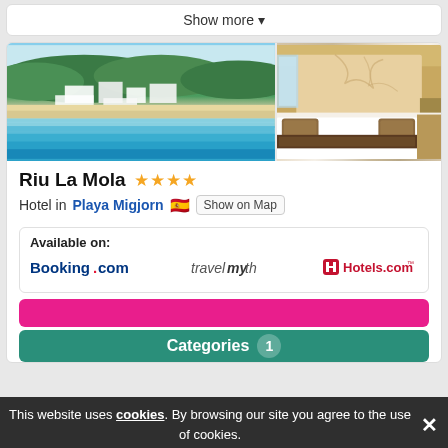Show more ▾
[Figure (photo): Aerial view of Riu La Mola hotel complex on beachfront with turquoise water and green forest]
[Figure (photo): Hotel room interior with double bed, brown pillow runner, cream walls with tree branch decor, sea view window]
Riu La Mola ★★★★
Hotel in Playa Migjorn 🇪🇸 Show on Map
Available on:
[Figure (logo): Booking.com logo]
[Figure (logo): travelmyth logo]
[Figure (logo): Hotels.com logo]
Categories  1
This website uses cookies. By browsing our site you agree to the use of cookies.